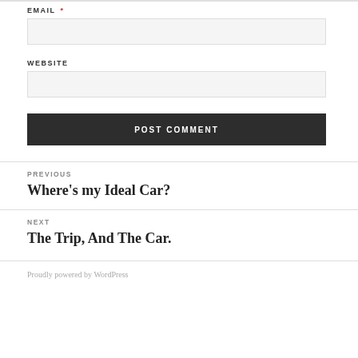EMAIL *
WEBSITE
POST COMMENT
PREVIOUS
Where's my Ideal Car?
NEXT
The Trip, And The Car.
Proudly powered by WordPress